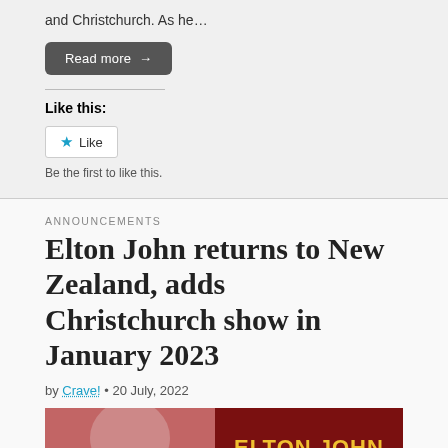and Christchurch. As he…
Read more →
Like this:
Like
Be the first to like this.
ANNOUNCEMENTS
Elton John returns to New Zealand, adds Christchurch show in January 2023
by Crave! • 20 July, 2022
[Figure (photo): Elton John concert promotional image with person on left and ELTON JOHN text in yellow on dark red background on right]